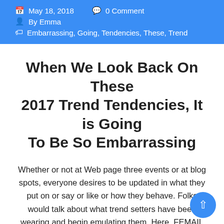May 18, 2018   0 Comment
By Emma
Embarrassing, Going, Tendencies, These, Trend
When We Look Back On These 2017 Trend Tendencies, It is Going To Be So Embarrassing
Whether or not at Web page three events or at blog spots, everyone desires to be updated in what they put on or say or like or how they behave. Folks would talk about what trend setters have been wearing and begin emulating them. Here, FEMAIL highlights the 12 trends we are going to all be rocking in 6 months time. If an older individual attire in keeping with the fashion youngers use, she or he may look ridiculous within the eyes of both